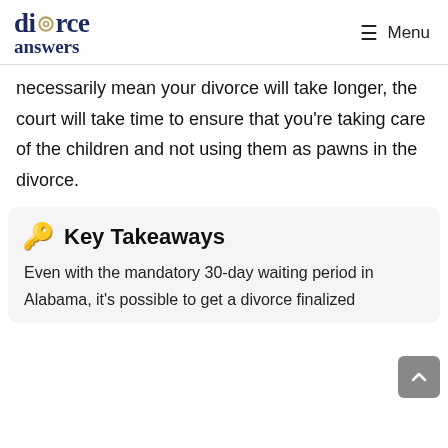divorce answers | Menu
necessarily mean your divorce will take longer, the court will take time to ensure that you're taking care of the children and not using them as pawns in the divorce.
Key Takeaways
Even with the mandatory 30-day waiting period in Alabama, it's possible to get a divorce finalized